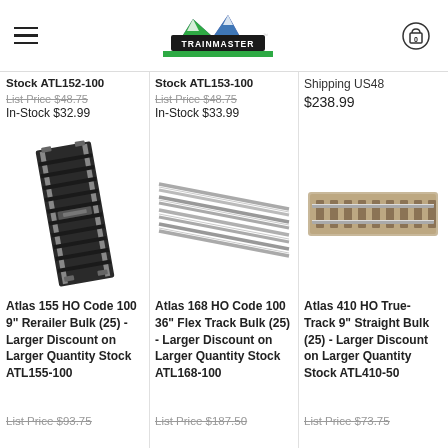Trainmaster store header with logo, hamburger menu, and cart icon showing 0 items
Stock ATL152-100 | List Price $48.75 | In-Stock $32.99
Stock ATL153-100 | List Price $48.75 | In-Stock $33.99
Shipping US48 $238.99
[Figure (photo): Atlas HO Code 100 9" Rerailer track piece, black, angled view]
[Figure (photo): Atlas HO Code 100 36" Flex Track pieces, multiple grey track strips]
[Figure (photo): Atlas HO True-Track 9" Straight track section, light brown ballast]
Atlas 155 HO Code 100 9" Rerailer Bulk (25) - Larger Discount on Larger Quantity Stock ATL155-100
Atlas 168 HO Code 100 36" Flex Track Bulk (25) - Larger Discount on Larger Quantity Stock ATL168-100
Atlas 410 HO True-Track 9" Straight Bulk (25) - Larger Discount on Larger Quantity Stock ATL410-50
List Price $93.75
List Price $187.50
List Price $73.75